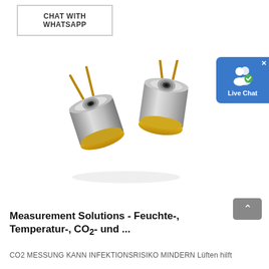CHAT WITH WHATSAPP
[Figure (other): Live Chat widget with blue background, two person icons, and 'Live Chat' label. Close (x) button in top-right corner.]
[Figure (photo): Two TO-can style sensor components (laser diodes or similar), metallic silver body with gold/yellow flanged base and electrical leads extending upward. Viewed from a slight angle showing the cylindrical body and aperture.]
[Figure (other): Gray scroll-to-top button with upward chevron arrow.]
Measurement Solutions - Feuchte-, Temperatur-, CO2- und ...
CO2 MESSUNG KANN INFEKTIONSRISIKO MINDERN Lüften hilft